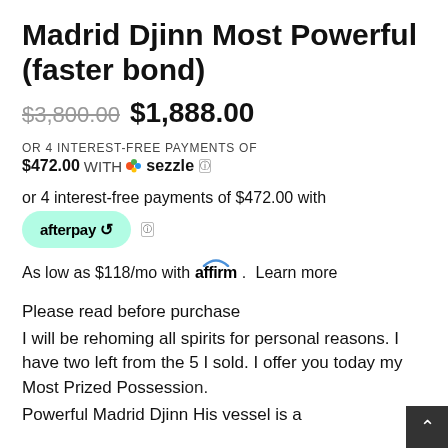Madrid Djinn Most Powerful (faster bond)
$3,800.00  $1,888.00
OR 4 INTEREST-FREE PAYMENTS OF $472.00 WITH sezzle
or 4 interest-free payments of $472.00 with afterpay
As low as $118/mo with affirm. Learn more
Please read before purchase
I will be rehoming all spirits for personal reasons. I have two left from the 5 I sold. I offer you today my Most Prized Possession. Powerful Madrid Djinn His vessel is a